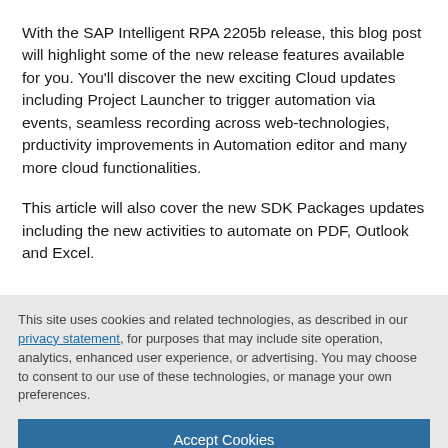With the SAP Intelligent RPA 2205b release, this blog post will highlight some of the new release features available for you. You'll discover the new exciting Cloud updates including Project Launcher to trigger automation via events, seamless recording across web-technologies, prductivity improvements in Automation editor and many more cloud functionalities.
This article will also cover the new SDK Packages updates including the new activities to automate on PDF, Outlook and Excel.
This site uses cookies and related technologies, as described in our privacy statement, for purposes that may include site operation, analytics, enhanced user experience, or advertising. You may choose to consent to our use of these technologies, or manage your own preferences.
Accept Cookies
More Information
Privacy Policy | Powered by: TrustArc